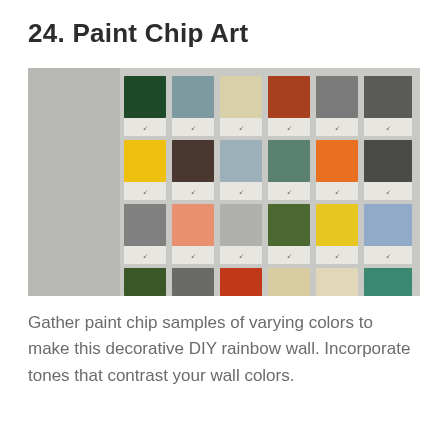24. Paint Chip Art
[Figure (photo): A grid of colorful paint chip samples arranged on a light gray wall. The chips include various colors: dark green, slate blue, cream, rust/orange, gray, dark gray in row 1; yellow, dark brown, light gray-blue, teal/sage, orange, yellow, dark gray in row 2; medium gray, salmon/peach, light gray, olive green, yellow, light blue, cream in row 3; dark olive green, gray, red-orange, cream/tan, light yellow, teal green, pink in row 4; pink, dark gray, salmon/orange, olive green, peach/orange, light peach, black in row 5. Each chip has a small handwritten label below it.]
Gather paint chip samples of varying colors to make this decorative DIY rainbow wall. Incorporate tones that contrast your wall colors.